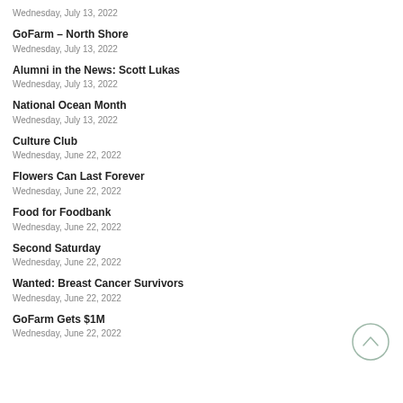Wednesday, July 13, 2022
GoFarm – North Shore
Wednesday, July 13, 2022
Alumni in the News: Scott Lukas
Wednesday, July 13, 2022
National Ocean Month
Wednesday, July 13, 2022
Culture Club
Wednesday, June 22, 2022
Flowers Can Last Forever
Wednesday, June 22, 2022
Food for Foodbank
Wednesday, June 22, 2022
Second Saturday
Wednesday, June 22, 2022
Wanted: Breast Cancer Survivors
Wednesday, June 22, 2022
GoFarm Gets $1M
Wednesday, June 22, 2022